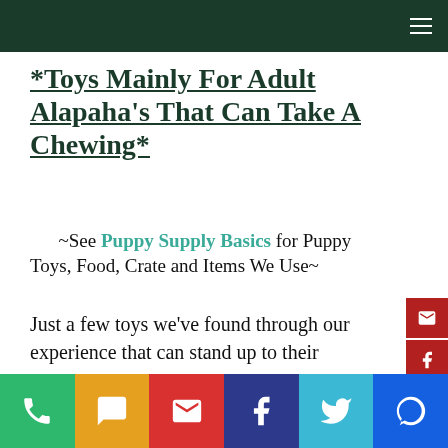Navigation header bar with hamburger menu
*Toys Mainly For Adult Alapaha’s That Can Take A Chewing*
~See Puppy Supply Basics for Puppy Toys, Food, Crate and Items We Use~
Just a few toys we've found through our experience that can stand up to their
Social share buttons: phone, chat, email, facebook, twitter, messenger, email, facebook, youtube, instagram